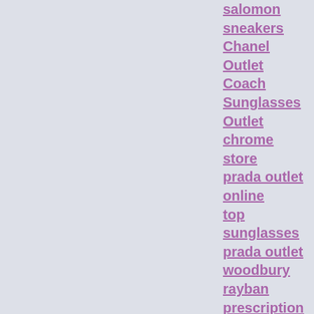salomon sneakers
Chanel Outlet
Coach Sunglasses Outlet
chrome store
prada outlet online
top sunglasses
prada outlet woodbury
rayban prescription glasses
tiffany co
sunglasses
Nike KD 8
tracking ups
burberry australia
nike air max 95
Basketball Jerseys Outlet
nike store
ray-Ban sunglasses
canada goose sale
abercrombie canada
nflshop com
coach outlet store
ray ban sunglasses
ralph lauren polo
ray-ban eyeglasses
michael kors outlet online
pandora jewelry sale
the beat
Brighton Jewelry - Official